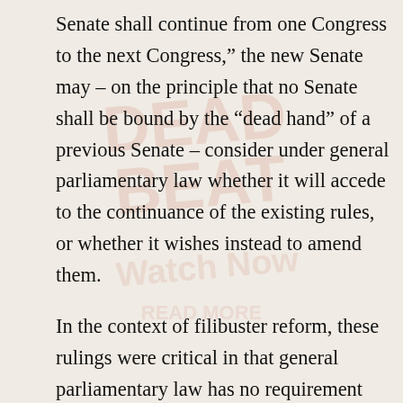Senate shall continue from one Congress to the next Congress,” the new Senate may – on the principle that no Senate shall be bound by the “dead hand” of a previous Senate – consider under general parliamentary law whether it will accede to the continuance of the existing rules, or whether it wishes instead to amend them.
In the context of filibuster reform, these rulings were critical in that general parliamentary law has no requirement for supermajorities on the question of closing